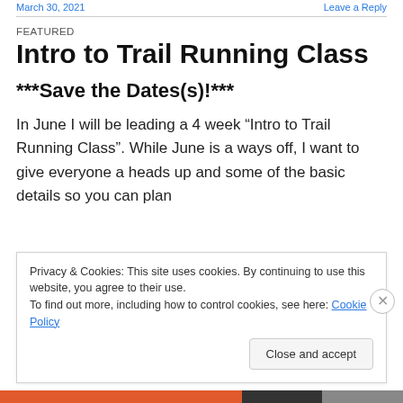March 30, 2021 · Leave a Reply
FEATURED
Intro to Trail Running Class
***Save the Dates(s)!***
In June I will be leading a 4 week “Intro to Trail Running Class”. While June is a ways off, I want to give everyone a heads up and some of the basic details so you can plan
Privacy & Cookies: This site uses cookies. By continuing to use this website, you agree to their use.
To find out more, including how to control cookies, see here: Cookie Policy
Close and accept